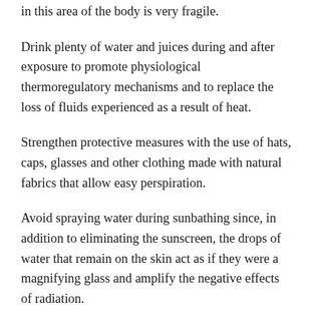in this area of the body is very fragile.
Drink plenty of water and juices during and after exposure to promote physiological thermoregulatory mechanisms and to replace the loss of fluids experienced as a result of heat.
Strengthen protective measures with the use of hats, caps, glasses and other clothing made with natural fabrics that allow easy perspiration.
Avoid spraying water during sunbathing since, in addition to eliminating the sunscreen, the drops of water that remain on the skin act as if they were a magnifying glass and amplify the negative effects of radiation.
After sun exposure and a shower with lukewarm water, generously moisturize the skin to